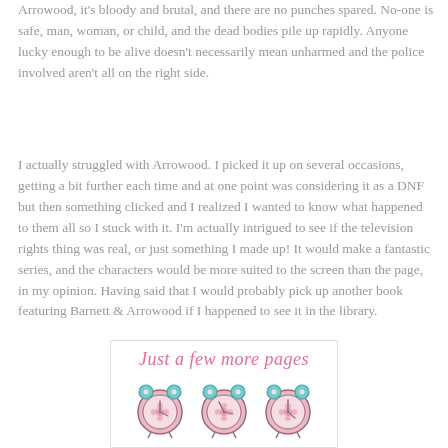Arrowood, it's bloody and brutal, and there are no punches spared. No-one is safe, man, woman, or child, and the dead bodies pile up rapidly. Anyone lucky enough to be alive doesn't necessarily mean unharmed and the police involved aren't all on the right side.
I actually struggled with Arrowood. I picked it up on several occasions, getting a bit further each time and at one point was considering it as a DNF but then something clicked and I realized I wanted to know what happened to them all so I stuck with it. I'm actually intrigued to see if the television rights thing was real, or just something I made up! It would make a fantastic series, and the characters would be more suited to the screen than the page, in my opinion. Having said that I would probably pick up another book featuring Barnett & Arrowood if I happened to see it in the library.
[Figure (illustration): Decorative image with text 'Just a few more pages' in pink cursive font, with three illustrated pink alarm clocks below it, set in a white box with a light border.]